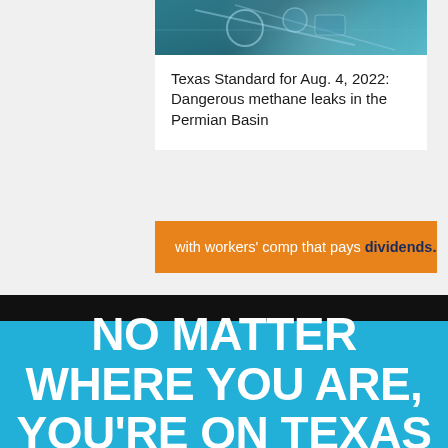[Figure (photo): Partial view of industrial/mechanical equipment with teal/blue color tones, likely related to oil and gas machinery]
Texas Standard for Aug. 4, 2022: Dangerous methane leaks in the Permian Basin
with workers’ comp that pays dividends.
NO MATTER WHERE YOU ARE, YOU’RE ON TEXAS